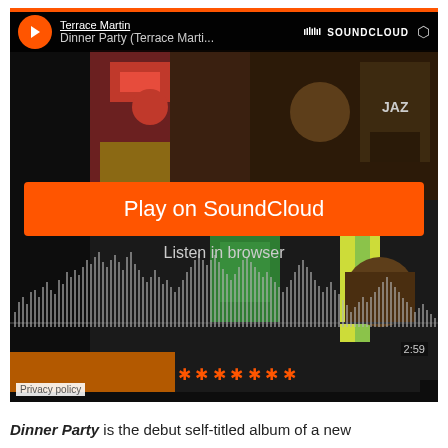[Figure (screenshot): SoundCloud embedded player showing 'Dinner Party (Terrace Marti...' by Terrace Martin, with album art depicting colorful illustrated faces, a large orange 'Play on SoundCloud' button, 'Listen in browser' link, an audio waveform at the bottom, timestamp 2:59, and Privacy policy link.]
Dinner Party is the debut self-titled album of a new